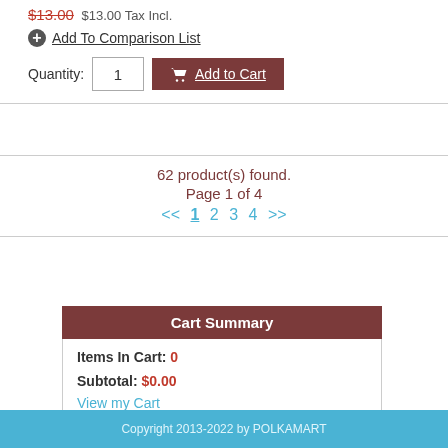$13.00  $13.00 Tax Incl.
Add To Comparison List
Quantity: 1  Add to Cart
62 product(s) found.
Page 1 of 4
<< 1 2 3 4 >>
| Cart Summary |
| --- |
| Items In Cart: 0 |
| Subtotal: $0.00 |
| View my Cart |
Copyright 2013-2022 by POLKAMART